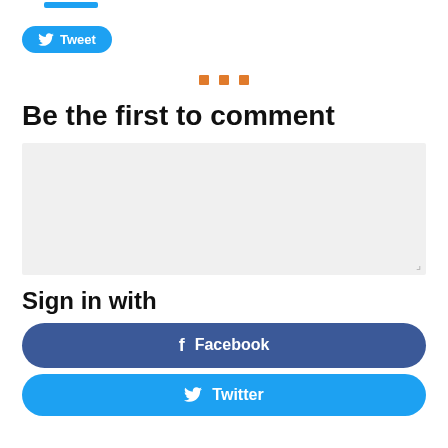[Figure (other): Blue rounded rectangle bar at top (partial, cropped)]
[Figure (other): Twitter Tweet button with bird icon, blue rounded pill shape]
[Figure (other): Three orange square dots centered as a decorative divider]
Be the first to comment
[Figure (other): Light gray text area comment input box with resize handle]
Sign in with
[Figure (other): Dark blue Facebook sign-in button with f icon]
[Figure (other): Light blue Twitter sign-in button with bird icon]